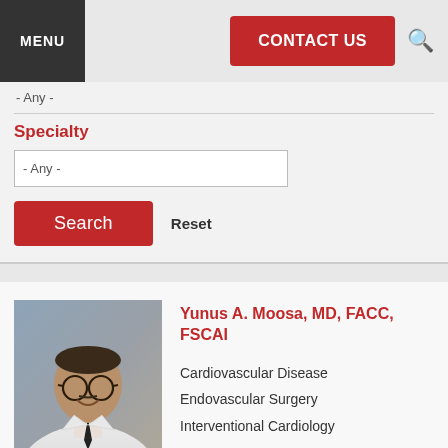MENU | CONTACT US
- Any -
Specialty
- Any -
Search   Reset
Yunus A. Moosa, MD, FACC, FSCAI
Cardiovascular Disease
Endovascular Surgery
Interventional Cardiology
[Figure (photo): Professional headshot of Dr. Yunus A. Moosa, a physician wearing glasses and a white coat with a dark tie, smiling, with a blurred background.]